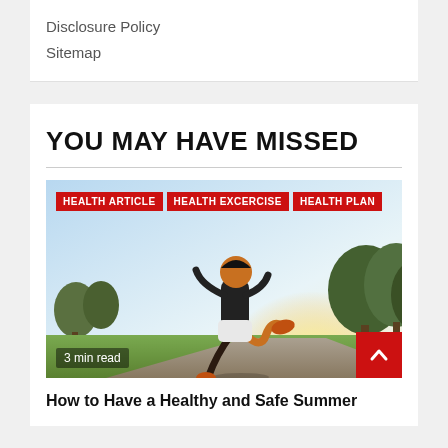Disclosure Policy
Sitemap
YOU MAY HAVE MISSED
[Figure (photo): Person running outdoors with sunshine in background, green trees visible. Tags overlaid: HEALTH ARTICLE, HEALTH EXCERCISE, HEALTH PLAN. Badge: 3 min read. Red scroll-to-top button bottom right.]
How to Have a Healthy and Safe Summer